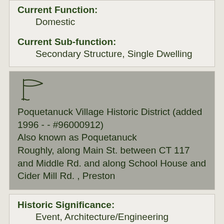Current Function:
Domestic
Current Sub-function:
Secondary Structure, Single Dwelling
[Figure (illustration): Flag icon]
Poquetanuck Village Historic District (added 1996 - - #96000912)
Also known as Poquetanuck
Roughly, along Main St. between CT 117 and Middle Rd. and along School House and Cider Mill Rd. , Preston
Historic Significance:
Event, Architecture/Engineering
Architectural Style:
Colonial, Mid 19th Century Revival, Late Victorian
Area of Significance:
Architecture, Commerce, Industry